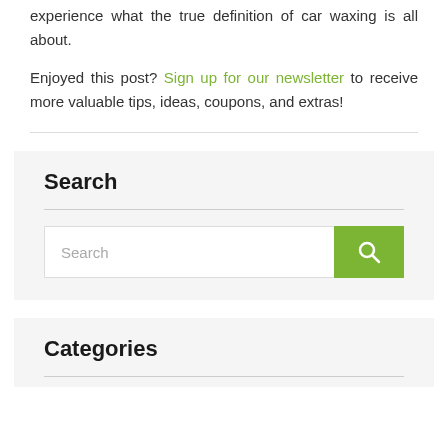experience what the true definition of car waxing is all about.
Enjoyed this post? Sign up for our newsletter to receive more valuable tips, ideas, coupons, and extras!
Search
Categories